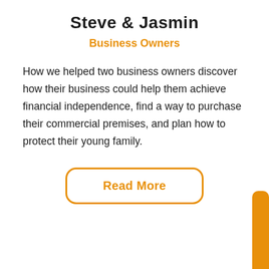Steve & Jasmin
Business Owners
How we helped two business owners discover how their business could help them achieve financial independence, find a way to purchase their commercial premises, and plan how to protect their young family.
Read More